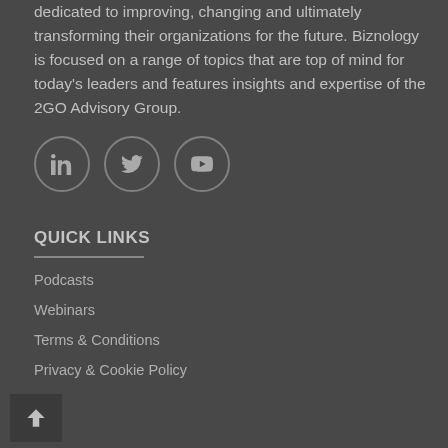dedicated to improving, changing and ultimately transforming their organizations for the future. Biznology is focused on a range of topics that are top of mind for today's leaders and features insights and expertise of the 2GO Advisory Group.
[Figure (illustration): Three circular social media icons: LinkedIn, Twitter, and YouTube]
QUICK LINKS
Podcasts
Webinars
Terms & Conditions
Privacy & Cookie Policy
[Figure (illustration): Scroll to top button with upward arrow chevron]